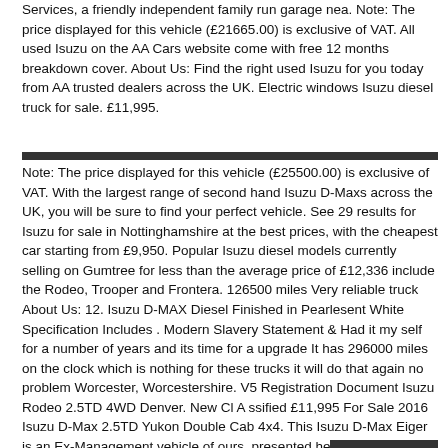Services, a friendly independent family run garage nea. Note: The price displayed for this vehicle (£21665.00) is exclusive of VAT. All used Isuzu on the AA Cars website come with free 12 months breakdown cover. About Us: Find the right used Isuzu for you today from AA trusted dealers across the UK. Electric windows Isuzu diesel truck for sale. £11,995.
Note: The price displayed for this vehicle (£25500.00) is exclusive of VAT. With the largest range of second hand Isuzu D-Maxs across the UK, you will be sure to find your perfect vehicle. See 29 results for Isuzu for sale in Nottinghamshire at the best prices, with the cheapest car starting from £9,950. Popular Isuzu diesel models currently selling on Gumtree for less than the average price of £12,336 include the Rodeo, Trooper and Frontera. 126500 miles Very reliable truck About Us: 12. Isuzu D-MAX Diesel Finished in Pearlesent White Specification Includes . Modern Slavery Statement & Had it my self for a number of years and its time for a upgrade It has 296000 miles on the clock which is nothing for these trucks it will do that again no problem Worcester, Worcestershire. V5 Registration Document Isuzu Rodeo 2.5TD 4WD Denver. New Cl A ssified £11,995 For Sale 2016 Isuzu D-Max 2.5TD Yukon Double Cab 4x4. This Isuzu D-Max Eiger is an Ex-Management vehicle of ours, presented here in Cosmic Black Metallic Paint Finish.